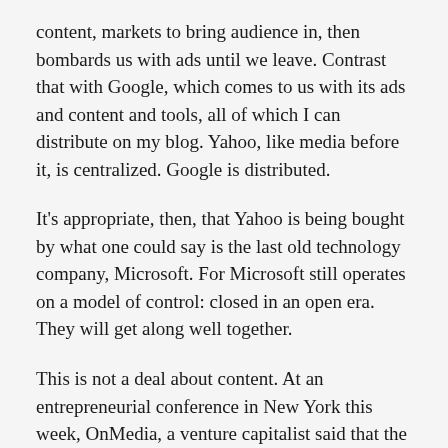content, markets to bring audience in, then bombards us with ads until we leave. Contrast that with Google, which comes to us with its ads and content and tools, all of which I can distribute on my blog. Yahoo, like media before it, is centralized. Google is distributed.
It's appropriate, then, that Yahoo is being bought by what one could say is the last old technology company, Microsoft. For Microsoft still operates on a model of control: closed in an open era. They will get along well together.
This is not a deal about content. At an entrepreneurial conference in New York this week, OnMedia, a venture capitalist said that the “perceived value of content is approaching zero.” That’s a kick in the kidneys to us content people.
No, this is a deal about audience and advertising. After the big guys consolidated all the ad networks they could —